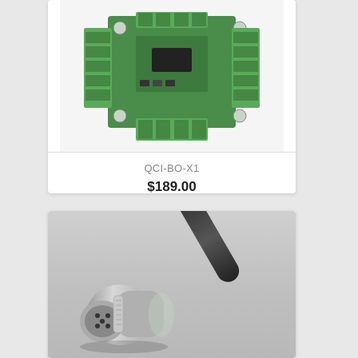[Figure (photo): Top-down photo of a green PCB breakout board with terminal blocks (QCI-BO-X1), showing screw terminals along the edges and electronic components in the center]
QCI-BO-X1
$189.00
[Figure (photo): Photo of a circular industrial connector (metal housing, multi-pin) attached to a black cable, shown at an angle on a light gray background]